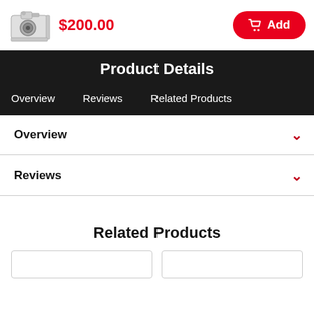[Figure (photo): Camera with L-bracket accessory, small product thumbnail]
$200.00
Add
Product Details
Overview   Reviews   Related Products
Overview
Reviews
Related Products